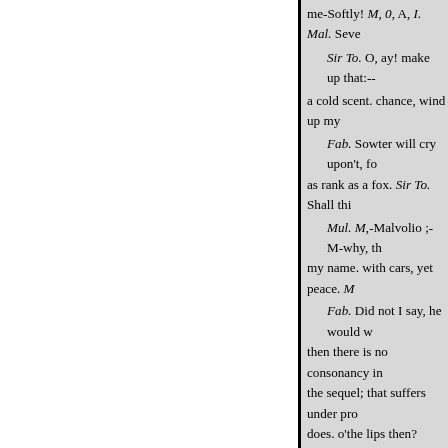me-Softly! M, 0, A, I. Mal. Seve
Sir To. O, ay! make up that:--
a cold scent. chance, wind up my
Fab. Sowter will cry upon't, fo
as rank as a fox. Sir To. Shall thi
Mul. M,-Malvolio ;-M-why, th
my name. with cars, yet peace. M
Fab. Did not I say, he would w
then there is no consonancy in
the sequel; that suffers under pro
does. o'the lips then?
Fab. And O shall end, I hope.
Sir To. Ay, or I'll cudgel him, a
O. speech:
Mal. And then I comes behind
Fab. Ay, an you had any eye b
might see more detraction at you